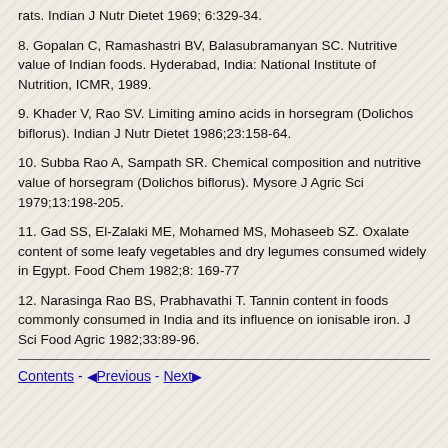rats. Indian J Nutr Dietet 1969; 6:329-34.
8. Gopalan C, Ramashastri BV, Balasubramanyan SC. Nutritive value of Indian foods. Hyderabad, India: National Institute of Nutrition, ICMR, 1989.
9. Khader V, Rao SV. Limiting amino acids in horsegram (Dolichos biflorus). Indian J Nutr Dietet 1986;23:158-64.
10. Subba Rao A, Sampath SR. Chemical composition and nutritive value of horsegram (Dolichos biflorus). Mysore J Agric Sci 1979;13:198-205.
11. Gad SS, El-Zalaki ME, Mohamed MS, Mohaseeb SZ. Oxalate content of some leafy vegetables and dry legumes consumed widely in Egypt. Food Chem 1982;8: 169-77
12. Narasinga Rao BS, Prabhavathi T. Tannin content in foods commonly consumed in India and its influence on ionisable iron. J Sci Food Agric 1982;33:89-96.
Contents - Previous - Next